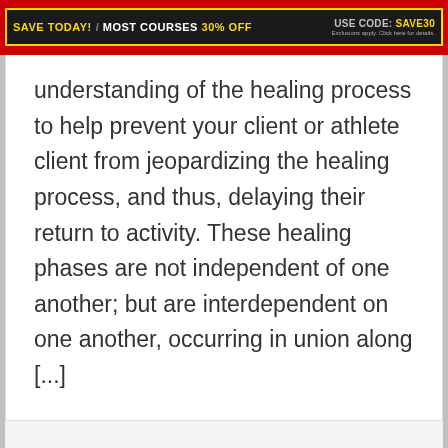SAVE TODAY! / MOST COURSES 30% OFF   USE CODE: SAVE30   Exclusions apply. Click here for details.
understanding of the healing process to help prevent your client or athlete client from jeopardizing the healing process, and thus, delaying their return to activity. These healing phases are not independent of one another; but are interdependent on one another, occurring in union along [...]